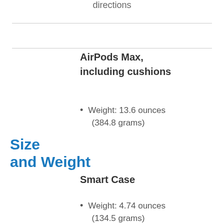directions
Size and Weight
AirPods Max, including cushions
Weight: 13.6 ounces (384.8 grams)
Smart Case
Weight: 4.74 ounces (134.5 grams)